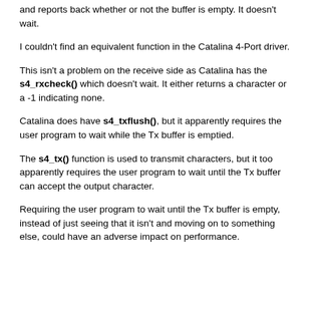and reports back whether or not the buffer is empty. It doesn't wait.
I couldn't find an equivalent function in the Catalina 4-Port driver.
This isn't a problem on the receive side as Catalina has the s4_rxcheck() which doesn't wait. It either returns a character or a -1 indicating none.
Catalina does have s4_txflush(), but it apparently requires the user program to wait while the Tx buffer is emptied.
The s4_tx() function is used to transmit characters, but it too apparently requires the user program to wait until the Tx buffer can accept the output character.
Requiring the user program to wait until the Tx buffer is empty, instead of just seeing that it isn't and moving on to something else, could have an adverse impact on performance.